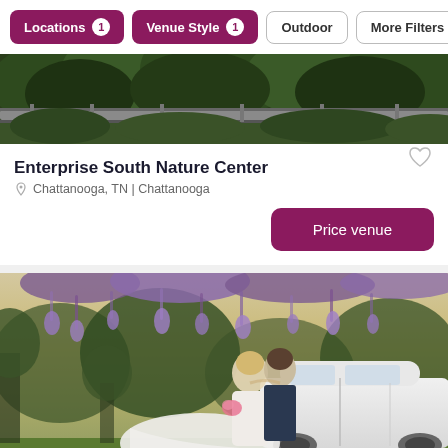Locations 1  Venue Style 1  Outdoor  More Filters
[Figure (photo): Top banner photo showing a railing with green trees/forest in the background]
Enterprise South Nature Center
Chattanooga, TN | Chattanooga
Price venue
[Figure (photo): Wedding couple kissing in front of a white vintage car with purple wisteria flowers hanging overhead]